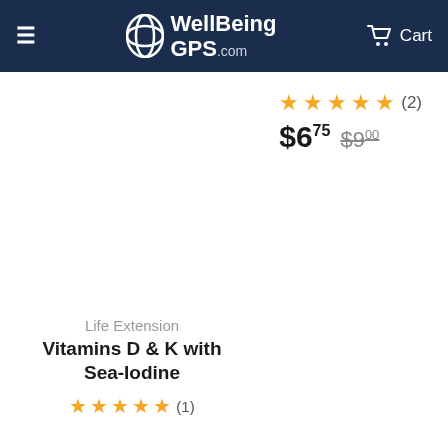WellBeingGPS.com | Cart
★★★★★ (2) $6.75 $9.00
Life Extension
Vitamins D & K with Sea-Iodine
★★★★★ (1)